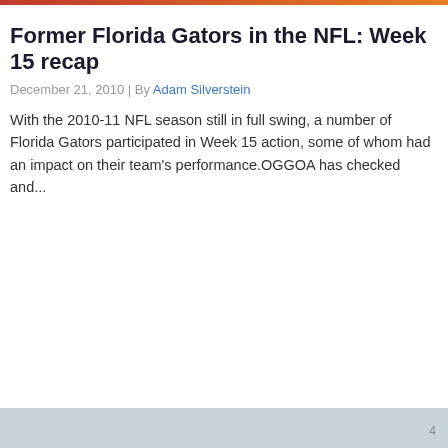Former Florida Gators in the NFL: Week 15 recap
December 21, 2010 | By Adam Silverstein
With the 2010-11 NFL season still in full swing, a number of Florida Gators participated in Week 15 action, some of whom had an impact on their team's performance.OGGOA has checked and...
4